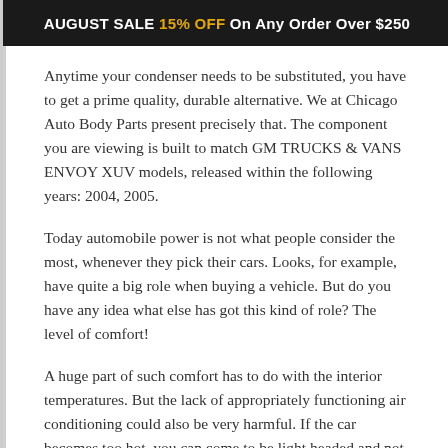AUGUST SALE 15% OFF On Any Order Over $250
Anytime your condenser needs to be substituted, you have to get a prime quality, durable alternative. We at Chicago Auto Body Parts present precisely that. The component you are viewing is built to match GM TRUCKS & VANS ENVOY XUV models, released within the following years: 2004, 2005.
Today automobile power is not what people consider the most, whenever they pick their cars. Looks, for example, have quite a big role when buying a vehicle. But do you have any idea what else has got this kind of role? The level of comfort!
A huge part of such comfort has to do with the interior temperatures. But the lack of appropriately functioning air conditioning could also be very harmful. If the car becomes too hot, you can come to be light headed and not able to focus. On the opposite, if a car is way too cold